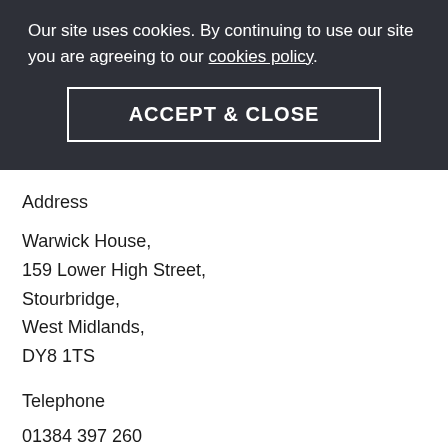Our site uses cookies. By continuing to use our site you are agreeing to our cookies policy.
ACCEPT & CLOSE
Address
Warwick House,
159 Lower High Street,
Stourbridge,
West Midlands,
DY8 1TS
Telephone
01384 397 260